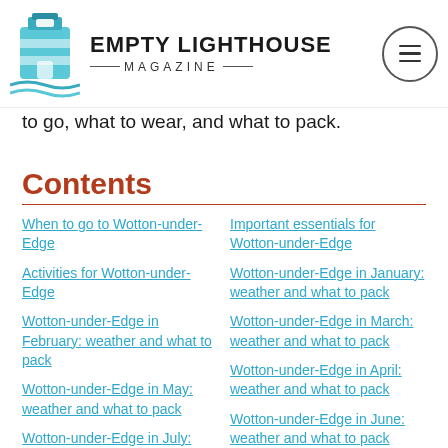Empty Lighthouse Magazine
to go, what to wear, and what to pack.
Contents
When to go to Wotton-under-Edge
Important essentials for Wotton-under-Edge
Activities for Wotton-under-Edge
Wotton-under-Edge in January: weather and what to pack
Wotton-under-Edge in February: weather and what to pack
Wotton-under-Edge in March: weather and what to pack
Wotton-under-Edge in April: weather and what to pack
Wotton-under-Edge in May: weather and what to pack
Wotton-under-Edge in June: weather and what to pack
Wotton-under-Edge in July: weather and what to pack
Wotton-under-Edge in August: weather and what to pack